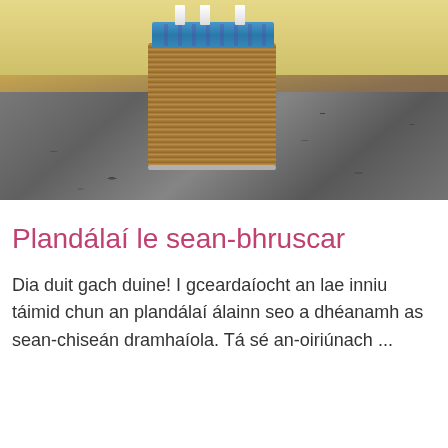[Figure (photo): A tin can wrapped in jute rope with a blue patterned fabric strip near the top and white tassels, sitting on a granite countertop against a yellow wall background.]
Plandálaí le sean-bhruscar
Dia duit gach duine! I gceardaíocht an lae inniu táimid chun an plandálaí álainn seo a dhéanamh as sean-chiseán dramhaíola. Tá sé an-oiriúnach ...